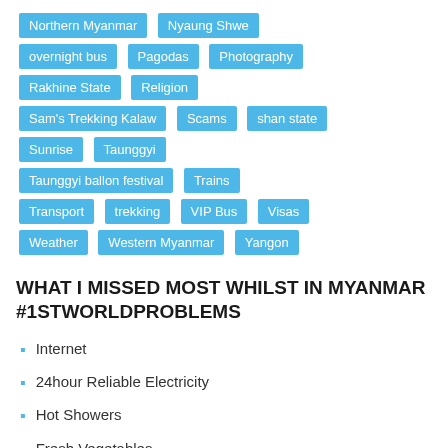Northern Myanmar
Nyaung Shwe
overnight bus
Pagodas
Photography
Rakhine State
Religion
Sam's Trekking Kalaw
Scams
shan state
Sunrise
Taunggyi
Taunggyi ballon festival
Trains
Transport
trekking
VIP Bus
Visas
Weather
Western Myanmar
Yangon
WHAT I MISSED MOST WHILST IN MYANMAR #1STWORLDPROBLEMS
Internet
24hour Reliable Electricity
Hot Showers
Fresh Vegetables